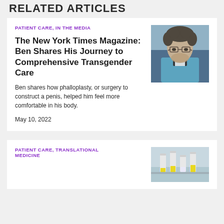RELATED ARTICLES
PATIENT CARE, IN THE MEDIA
The New York Times Magazine: Ben Shares His Journey to Comprehensive Transgender Care
Ben shares how phalloplasty, or surgery to construct a penis, helped him feel more comfortable in his body.
May 10, 2022
[Figure (photo): Portrait photo of a young man with curly hair and glasses wearing a blue jacket]
PATIENT CARE, TRANSLATIONAL MEDICINE
[Figure (photo): Photo of laboratory vials/test tubes with yellow liquid]